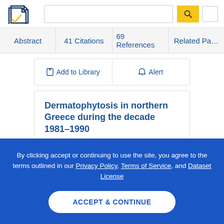[Figure (logo): Semantic Scholar logo — dark blue and gold stylized pages icon with checkmark]
Abstract | 41 Citations | 69 References | Related Pa…
☐ Add to Library   🔔 Alert
Dermatophytosis in northern Greece during the decade 1981–1990
D. Devliotou-Panagiotidou, T. Koussidou-Eremondi, G.
By clicking accept or continuing to use the site, you agree to the terms outlined in our Privacy Policy, Terms of Service, and Dataset License
ACCEPT & CONTINUE